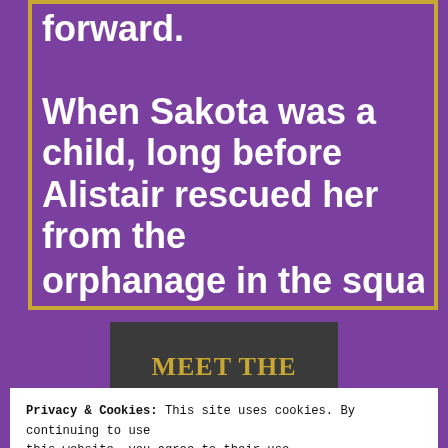forward.

When Sakota was a child, long before Alistair rescued her from the orphanage in the squalid wasteland of
[Figure (illustration): Dark banner graphic with gold serif text reading MEET THE AUTHOR on two lines]
[Figure (photo): Partial photo of brick wall, cropped at bottom of visible area]
Privacy & Cookies: This site uses cookies. By continuing to use this website, you agree to their use.
To find out more, including how to control cookies, see here:
Cookie Policy
Close and accept
[Figure (screenshot): Ad banner: orange background with text 'with more privacy. All in One Free App' and DuckDuckGo logo on the right]